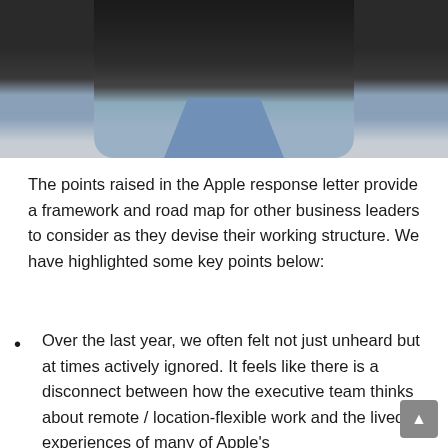[Figure (photo): Partial photo of a person wearing a dark jacket and blue collared shirt, cropped to show neck and shoulders area against a light gray background]
The points raised in the Apple response letter provide a framework and road map for other business leaders to consider as they devise their working structure. We have highlighted some key points below:
Over the last year, we often felt not just unheard but at times actively ignored. It feels like there is a disconnect between how the executive team thinks about remote / location-flexible work and the lived experiences of many of Apple's